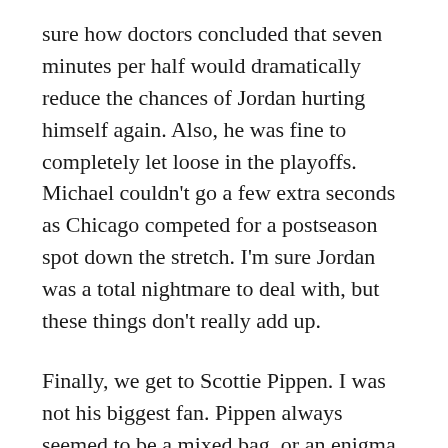sure how doctors concluded that seven minutes per half would dramatically reduce the chances of Jordan hurting himself again. Also, he was fine to completely let loose in the playoffs. Michael couldn't go a few extra seconds as Chicago competed for a postseason spot down the stretch. I'm sure Jordan was a total nightmare to deal with, but these things don't really add up.
Finally, we get to Scottie Pippen. I was not his biggest fan. Pippen always seemed to be a mixed bag, or an enigma. This documentary did nothing to change that for me. We learn about Pippen's family members. Two of them were in wheelchairs. You start to feel sorry for him. His